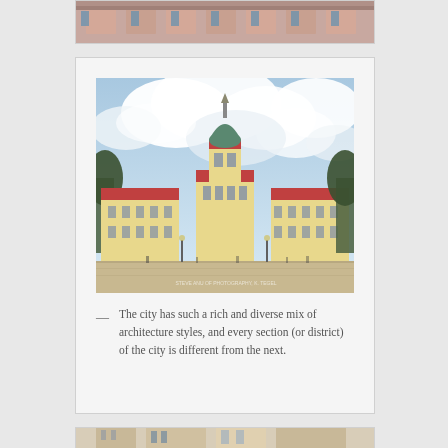[Figure (photo): Partial view of top card showing what appears to be a building facade with red/terracotta colors]
[Figure (photo): Charlottenburg Palace in Berlin, wide panoramic view showing the baroque palace facade with central tower topped by green dome, red roofs, yellow/cream walls, large courtyard in foreground, cloudy sky above. Watermark text visible in lower right corner.]
— The city has such a rich and diverse mix of architecture styles, and every section (or district) of the city is different from the next.
[Figure (photo): Partial view of bottom card showing street-level buildings]